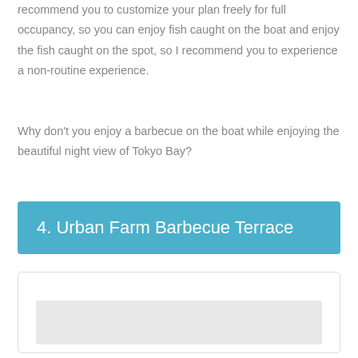recommend you to customize your plan freely for full occupancy, so you can enjoy fish caught on the boat and enjoy the fish caught on the spot, so I recommend you to experience a non-routine experience.
Why don't you enjoy a barbecue on the boat while enjoying the beautiful night view of Tokyo Bay?
4. Urban Farm Barbecue Terrace
[Figure (photo): Image placeholder box with grey inner rectangle]